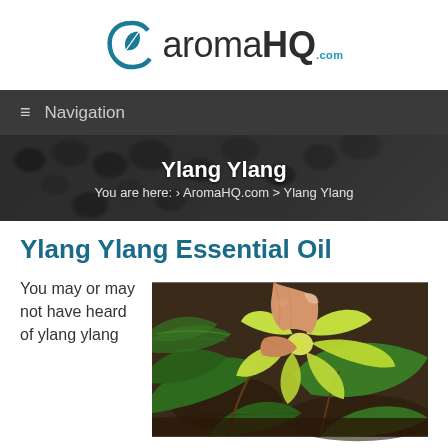[Figure (logo): AromaHQ.com logo with leaf icon and stylized text]
≡  Navigation
Ylang Ylang
You are here: › AromaHQ.com > Ylang Ylang
Ylang Ylang Essential Oil
You may or may not have heard of ylang ylang
[Figure (photo): A hand holding a yellow-green ylang ylang flower with tropical green leaves in the background]